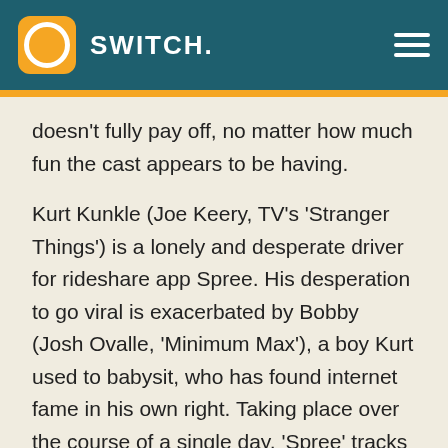SWITCH.
doesn't fully pay off, no matter how much fun the cast appears to be having.
Kurt Kunkle (Joe Keery, TV's 'Stranger Things') is a lonely and desperate driver for rideshare app Spree. His desperation to go viral is exacerbated by Bobby (Josh Ovalle, 'Minimum Max'), a boy Kurt used to babysit, who has found internet fame in his own right. Taking place over the course of a single day, 'Spree' tracks Kurt's dangerous and violent last attempt